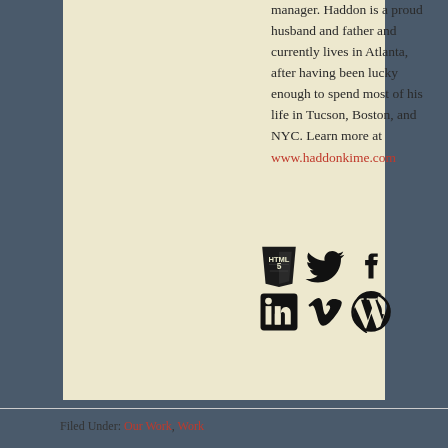manager. Haddon is a proud husband and father and currently lives in Atlanta, after having been lucky enough to spend most of his life in Tucson, Boston, and NYC. Learn more at www.haddonkime.com
[Figure (infographic): Social media icons: HTML5, Twitter, Facebook, LinkedIn, Vimeo, WordPress]
Filed Under: Our Work, Work